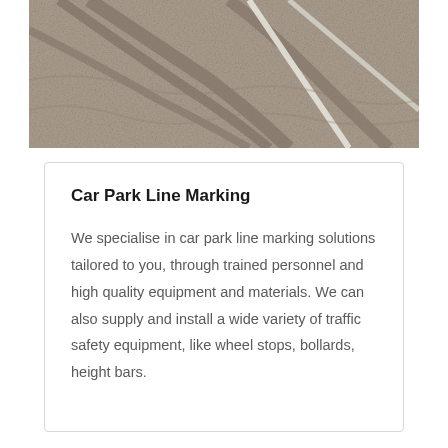[Figure (photo): Aerial or close-up view of car park asphalt surface with white line markings and tyre tracks]
Car Park Line Marking
We specialise in car park line marking solutions tailored to you, through trained personnel and high quality equipment and materials. We can also supply and install a wide variety of traffic safety equipment, like wheel stops, bollards, height bars.